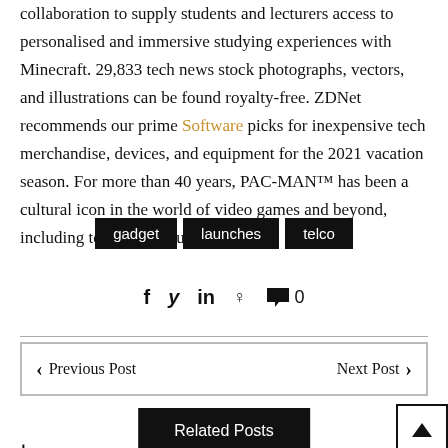collaboration to supply students and lecturers access to personalised and immersive studying experiences with Minecraft. 29,833 tech news stock photographs, vectors, and illustrations can be found royalty-free. ZDNet recommends our prime Software picks for inexpensive tech merchandise, devices, and equipment for the 2021 vacation season. For more than 40 years, PAC-MAN™ has been a cultural icon in the world of video games and beyond, including television, music, and film.
gadget
launches
telco
f  y  in  ♡  💬 0
◀ Previous Post    Next Post ▶
Related Posts
▲